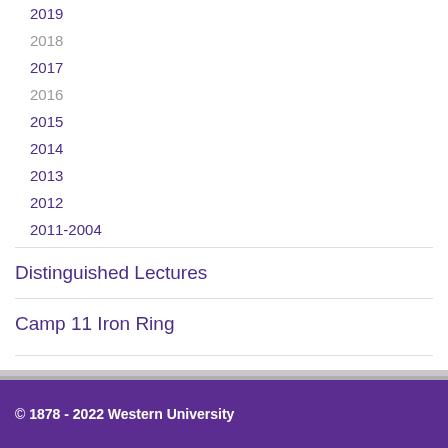2019
2018
2017
2016
2015
2014
2013
2012
2011-2004
Distinguished Lectures
Camp 11 Iron Ring
© 1878 - 2022 Western University